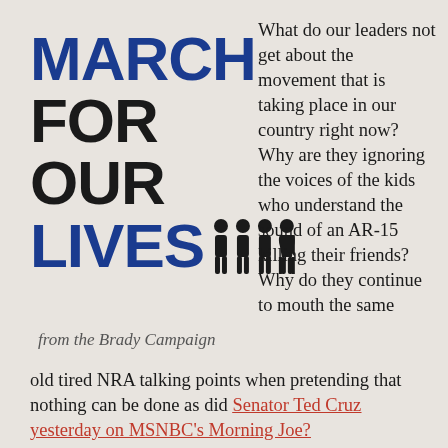[Figure (logo): March For Our Lives logo: MARCH in blue bold uppercase, FOR OUR in black bold uppercase, LIVES in blue bold uppercase with four human figures silhouettes]
from the Brady Campaign
What do our leaders not get about the movement that is taking place in our country right now? Why are they ignoring the voices of the kids who understand the sound of an AR-15 killing their friends? Why do they continue to mouth the same old tired NRA talking points when pretending that nothing can be done as did Senator Ted Cruz yesterday on MSNBC's Morning Joe?